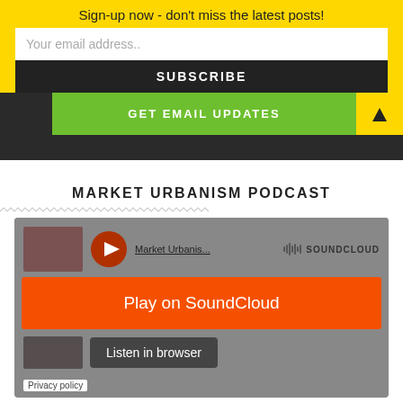Sign-up now - don't miss the latest posts!
Your email address..
SUBSCRIBE
GET EMAIL UPDATES
MARKET URBANISM PODCAST
[Figure (screenshot): SoundCloud embed widget for Market Urbanism Podcast showing Play on SoundCloud button, Listen in browser button, and Privacy policy link]
Privacy policy